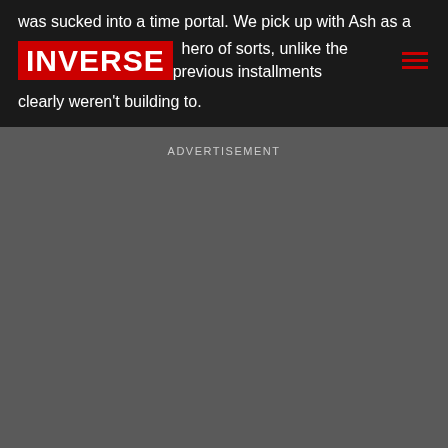was sucked into a time portal. We pick up with Ash as a
INVERSE
hero of sorts, unlike the previous installments clearly weren't building to.
ADVERTISEMENT
The website of Inverse | Reviews, galleries, news, articles